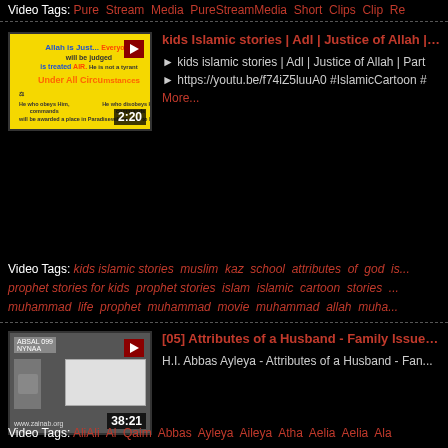Video Tags: Pure Stream Media PureStreamMedia Short Clips Clip Re...
[Figure (screenshot): Video thumbnail showing yellow background with Islamic text 'Allah is Just... Under All Circumstances', duration 2:20]
kids Islamic stories | Adl | Justice of Allah | Pa...
► kids islamic stories | Adl | Justice of Allah | Part... ► https://youtu.be/f74iZ5luuA0 #IslamicCartoon # More...
Video Tags: kids islamic stories muslim kaz school attributes of god is... prophet stories for kids prophet stories islam islamic cartoon stories ... muhammad life prophet muhammad movie muhammad allah muha...
[Figure (screenshot): Video thumbnail showing classroom with whiteboard, www.zainab.org, duration 38:21]
[05] Attributes of a Husband - Family Issues S...
H.I. Abbas Ayleya - Attributes of a Husband - Fan...
Video Tags: AliAli Al Qaim Abbas Ayleya Aileya Atha Aelia Aelia Ala...